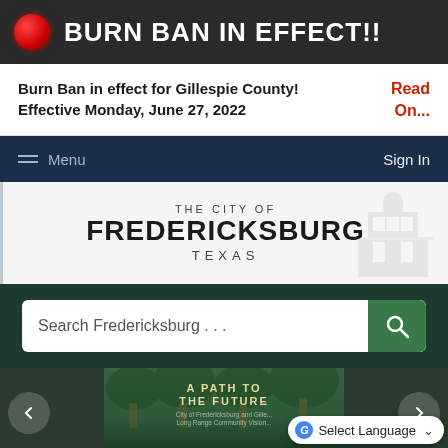🔴 BURN BAN IN EFFECT!!
Burn Ban in effect for Gillespie County! Effective Monday, June 27, 2022
Read On...
Menu  Sign In
[Figure (logo): The City of Fredericksburg Texas logo with building watermark]
Search Fredericksburg . . .
[Figure (photo): A PATH TO THE FUTURE - City of Fredericksburg and Gillespie County Long Range Community Vision banner image with forest path]
Select Language